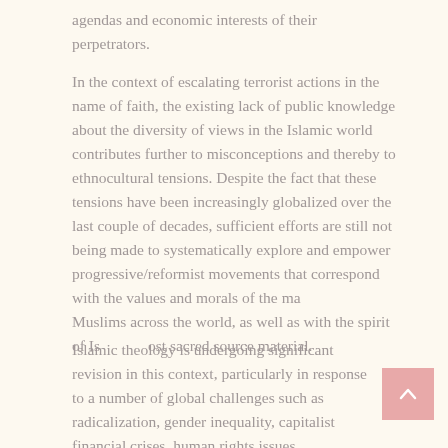agendas and economic interests of their perpetrators.
In the context of escalating terrorist actions in the name of faith, the existing lack of public knowledge about the diversity of views in the Islamic world contributes further to misconceptions and thereby to ethnocultural tensions. Despite the fact that these tensions have been increasingly globalized over the last couple of decades, sufficient efforts are still not being made to systematically explore and empower progressive/reformist movements that correspond with the values and morals of the majority of Muslims across the world, as well as with the spirit of Islam's most sacred source material.
Islamic theology is undergoing significant revision in this context, particularly in response to a number of global challenges such as radicalization, gender inequality, capitalist financial crises, human rights issues, advancements in technological and medical sciences with complex ethical implications (such as cloning, stem-cell research/therapy, youth identity dilemmas, mass immigration and refugee crises. The central purpose of the scholarship on offer is, therefore, to